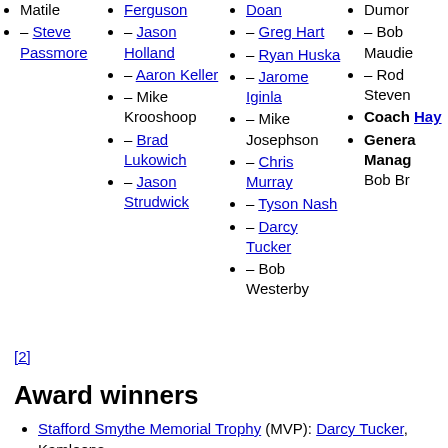– Steve Passmore
– Ferguson
– Jason Holland
– Aaron Keller
– Mike Krooshoop
– Brad Lukowich
– Jason Strudwick
– Doan
– Greg Hart
– Ryan Huska
– Jarome Iginla
– Mike Josephson
– Chris Murray
– Tyson Nash
– Darcy Tucker
– Bob Westerby
– Dumon
– Bob Maudie
– Rod Steven
Coach Hay
General Manager Bob Br
[2]
Award winners
Stafford Smythe Memorial Trophy (MVP): Darcy Tucker, Kamloops